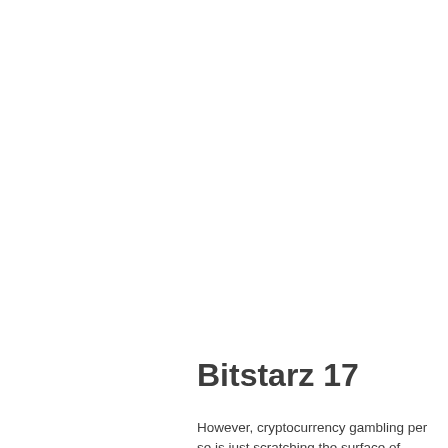Bitstarz 17
However, cryptocurrency gambling per se is just scratching the surface of blockchain technology, which has a nearly-unlimited